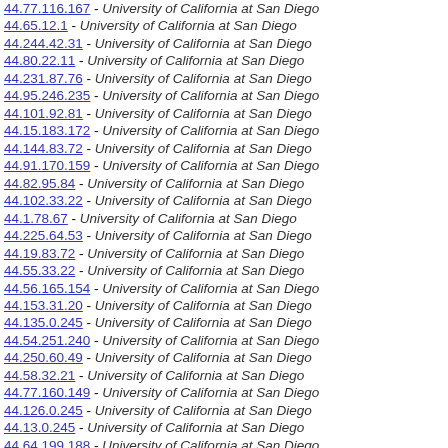44.77.116.167 - University of California at San Diego
44.65.12.1 - University of California at San Diego
44.244.42.31 - University of California at San Diego
44.80.22.11 - University of California at San Diego
44.231.87.76 - University of California at San Diego
44.95.246.235 - University of California at San Diego
44.101.92.81 - University of California at San Diego
44.15.183.172 - University of California at San Diego
44.144.83.72 - University of California at San Diego
44.91.170.159 - University of California at San Diego
44.82.95.84 - University of California at San Diego
44.102.33.22 - University of California at San Diego
44.1.78.67 - University of California at San Diego
44.225.64.53 - University of California at San Diego
44.19.83.72 - University of California at San Diego
44.55.33.22 - University of California at San Diego
44.56.165.154 - University of California at San Diego
44.153.31.20 - University of California at San Diego
44.135.0.245 - University of California at San Diego
44.54.251.240 - University of California at San Diego
44.250.60.49 - University of California at San Diego
44.58.32.21 - University of California at San Diego
44.77.160.149 - University of California at San Diego
44.126.0.245 - University of California at San Diego
44.13.0.245 - University of California at San Diego
44.64.199.188 - University of California at San Diego
44.102.13.2 - University of California at San Diego
44.243.1.246 - University of California at San Diego
44.20.78.67 - University of California at San Diego
44.84.0.245 - University of California at San Diego
44.11.99.97 - University of California at San Diego